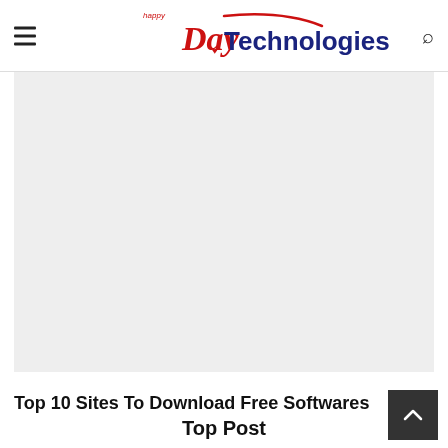Happy Day Technologies
[Figure (other): Light grey advertisement/image placeholder block]
Top 10 Sites To Download Free Softwares
Top Post